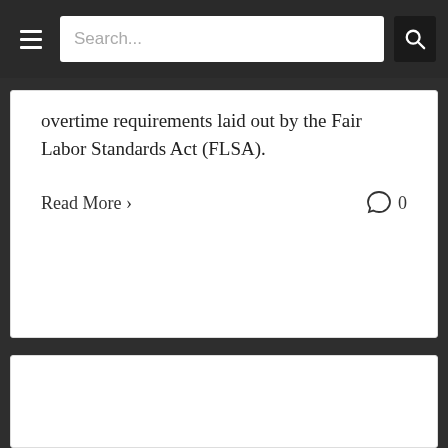Search...
overtime requirements laid out by the Fair Labor Standards Act (FLSA).
Read More › 0